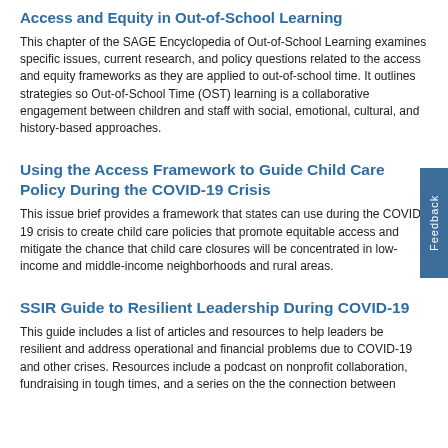Access and Equity in Out-of-School Learning
This chapter of the SAGE Encyclopedia of Out-of-School Learning examines specific issues, current research, and policy questions related to the access and equity frameworks as they are applied to out-of-school time. It outlines strategies so Out-of-School Time (OST) learning is a collaborative engagement between children and staff with social, emotional, cultural, and history-based approaches.
Using the Access Framework to Guide Child Care Policy During the COVID-19 Crisis
This issue brief provides a framework that states can use during the COVID-19 crisis to create child care policies that promote equitable access and mitigate the chance that child care closures will be concentrated in low-income and middle-income neighborhoods and rural areas.
SSIR Guide to Resilient Leadership During COVID-19
This guide includes a list of articles and resources to help leaders be resilient and address operational and financial problems due to COVID-19 and other crises. Resources include a podcast on nonprofit collaboration, fundraising in tough times, and a series on the the connection between